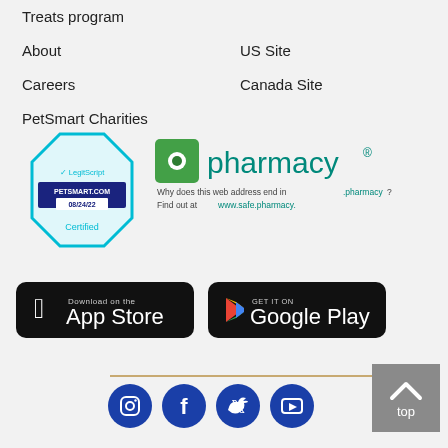Treats program
About
Careers
PetSmart Charities
US Site
Canada Site
[Figure (logo): LegitScript certified badge for PETSMART.COM dated 08/24/22]
[Figure (logo): .pharmacy badge with text: Why does this web address end in .pharmacy? Find out at www.safe.pharmacy.]
[Figure (logo): Download on the App Store button]
[Figure (logo): Get it on Google Play button]
[Figure (logo): Social media icons: Instagram, Facebook, Twitter, YouTube]
[Figure (other): Back to top button with upward arrow]